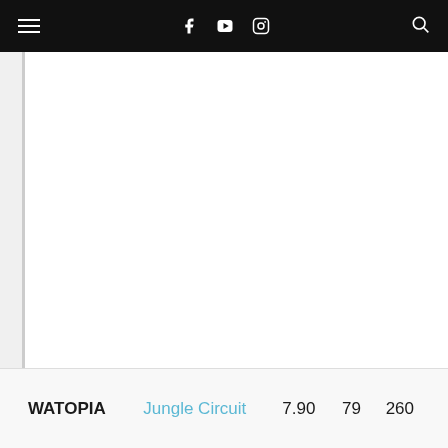Navigation bar with hamburger menu, Facebook, YouTube, Instagram icons and search
[Figure (screenshot): White content area, likely a map or route image, mostly blank/white]
| Location | Route | Distance | Elevation | Points |
| --- | --- | --- | --- | --- |
| WATOPIA | Jungle Circuit | 7.90 | 79 | 260 |